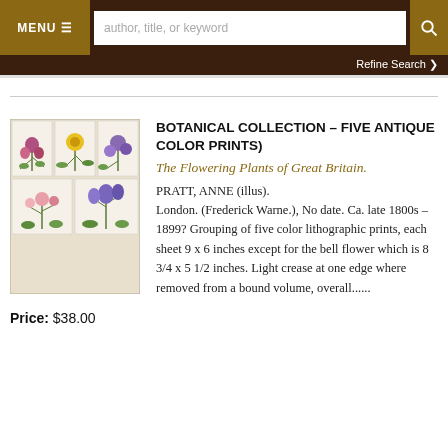MENU  author, title, or keyword  [search]
Refine Search
[Figure (photo): Five antique botanical color lithographic prints showing flowering plants arranged in a collage, from The Flowering Plants of Great Britain]
BOTANICAL COLLECTION - FIVE ANTIQUE COLOR PRINTS)
The Flowering Plants of Great Britain.
PRATT, ANNE (illus).
London. (Frederick Warne.), No date. Ca. late 1800s – 1899? Grouping of five color lithographic prints, each sheet 9 x 6 inches except for the bell flower which is 8 3/4 x 5 1/2 inches. Light crease at one edge where removed from a bound volume, overall......
Price: $38.00